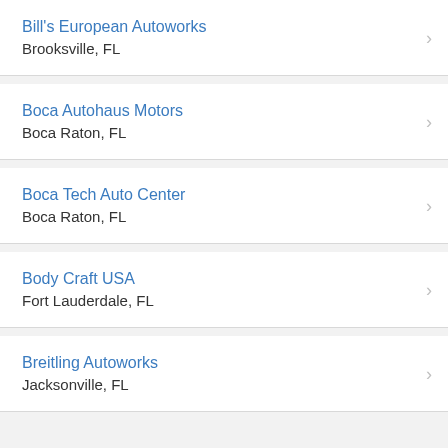Bill's European Autoworks
Brooksville, FL
Boca Autohaus Motors
Boca Raton, FL
Boca Tech Auto Center
Boca Raton, FL
Body Craft USA
Fort Lauderdale, FL
Breitling Autoworks
Jacksonville, FL